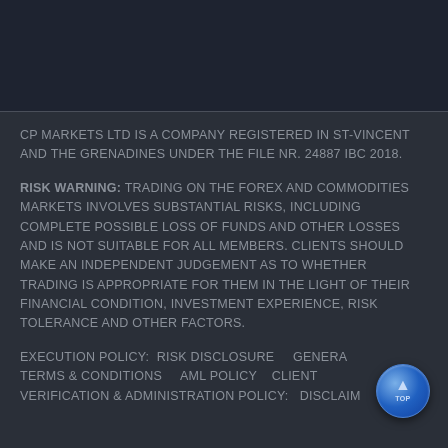CP MARKETS LTD IS A COMPANY REGISTERED IN ST-VINCENT AND THE GRENADINES UNDER THE FILE NR. 24887 IBC 2018.
RISK WARNING: TRADING ON THE FOREX AND COMMODITIES MARKETS INVOLVES SUBSTANTIAL RISKS, INCLUDING COMPLETE POSSIBLE LOSS OF FUNDS AND OTHER LOSSES AND IS NOT SUITABLE FOR ALL MEMBERS. CLIENTS SHOULD MAKE AN INDEPENDENT JUDGEMENT AS TO WHETHER TRADING IS APPROPRIATE FOR THEM IN THE LIGHT OF THEIR FINANCIAL CONDITION, INVESTMENT EXPERIENCE, RISK TOLERANCE AND OTHER FACTORS.
EXECUTION POLICY:  RISK DISCLOSURE    GENERAL TERMS & CONDITIONS    AML POLICY   CLIENT VERIFICATION & ADMINISTRATION POLICY:  DISCLAIM...